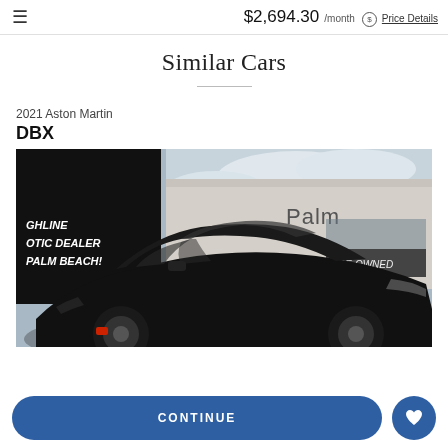$2,694.30 /month Price Details
Similar Cars
2021 Aston Martin
DBX
[Figure (photo): Photo of a black 2021 Aston Martin DBX SUV parked in front of a Palm Beach exotic car dealership. A black overlay on the left reads 'SHLINE OTIC DEALER PALM BEACH!']
CONTINUE